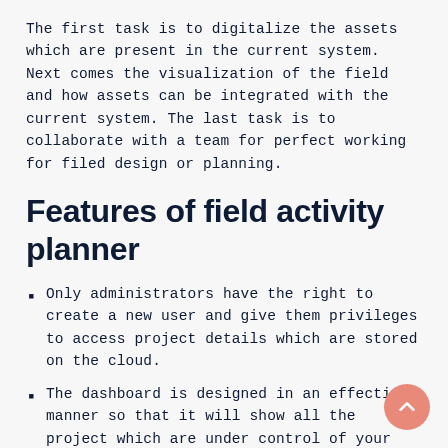The first task is to digitalize the assets which are present in the current system. Next comes the visualization of the field and how assets can be integrated with the current system. The last task is to collaborate with a team for perfect working for filed design or planning.
Features of field activity planner
Only administrators have the right to create a new user and give them privileges to access project details which are stored on the cloud.
The dashboard is designed in an effective manner so that it will show all the project which are under control of your company. It will show recent projects which are ongoing along with completed projects. Sensitive data